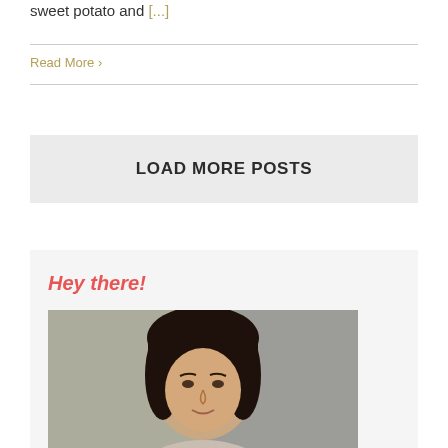sweet potato and [...]
Read More >
LOAD MORE POSTS
Hey there!
[Figure (photo): Portrait photo of a woman with long dark hair, looking slightly upward, with a blurred background]